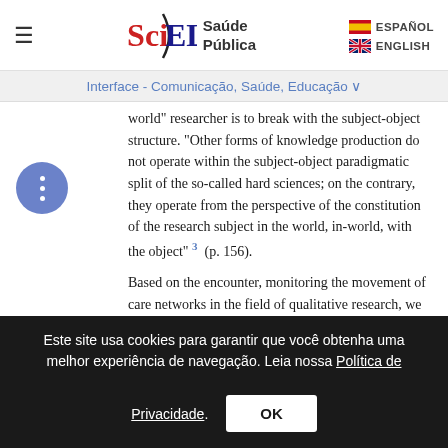SciELO Saúde Pública | ESPAÑOL | ENGLISH
Interface - Comunicação, Saúde, Educação
world" researcher is to break with the subject-object structure. "Other forms of knowledge production do not operate within the subject-object paradigmatic split of the so-called hard sciences; on the contrary, they operate from the perspective of the constitution of the research subject in the world, in-world, with the object" 3 (p. 156).
Based on the encounter, monitoring the movement of care networks in the field of qualitative research, we began a debate on the various forms of
Este site usa cookies para garantir que você obtenha uma melhor experiência de navegação. Leia nossa Política de Privacidade. OK